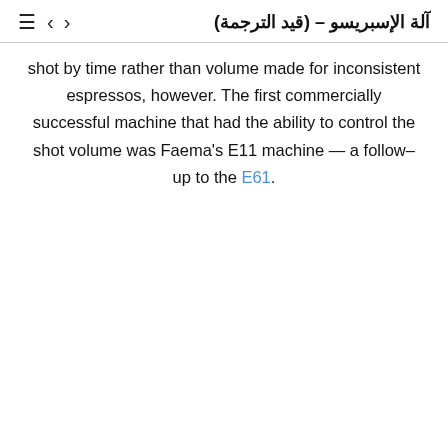≡ < >   آلة الإسبريسو – (قيد الترجمة)
shot by time rather than volume made for inconsistent espressos, however. The first commercially successful machine that had the ability to control the shot volume was Faema's E11 machine — a follow–up to the E61.